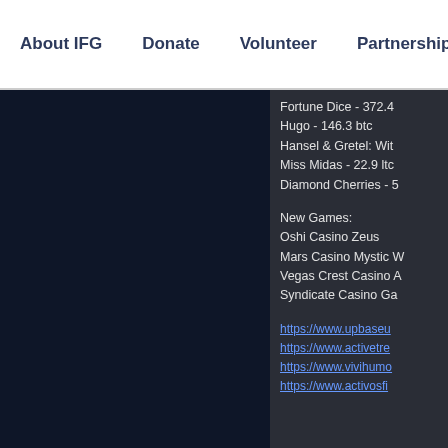About IFG   Donate   Volunteer   Partnerships
[Figure (other): Dark navy background panel on the left side of content area]
Fortune Dice - 372.4
Hugo - 146.3 btc
Hansel & Gretel: Wit...
Miss Midas - 22.9 ltc
Diamond Cherries - 5...
New Games:
Oshi Casino Zeus
Mars Casino Mystic W...
Vegas Crest Casino A...
Syndicate Casino Ga...
https://www.upbaseu...
https://www.activetre...
https://www.vivihumo...
https://www.activosfi...